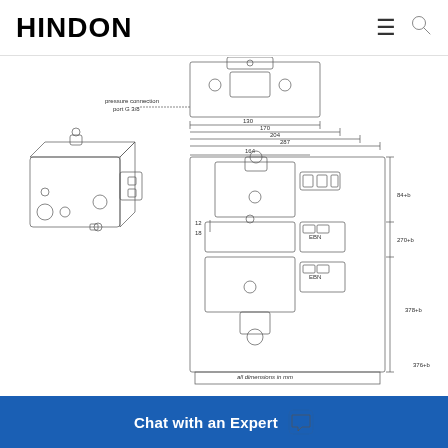HINDON
[Figure (engineering-diagram): Engineering dimensional drawing of a hydraulic valve/pump unit showing an isometric 3D view on the left and a front orthographic view with dimensions on the right. Dimensions include 130, 170, 204, 287, 164 width measurements and 12, 18, 84+b, 270+b, 378+b, 376+b height measurements. Label reads 'pressure connection port G 3/8'. Note: 'all dimensions in mm']
Chat with an Expert